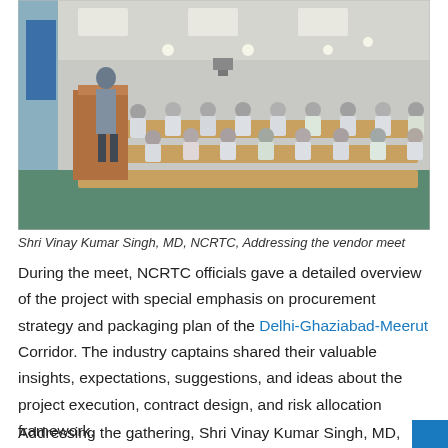[Figure (photo): A man standing at a wooden podium addressing a large audience of professionals seated at long conference tables in a modern conference room with recessed ceiling lights.]
Shri Vinay Kumar Singh, MD, NCRTC, Addressing the vendor meet
During the meet, NCRTC officials gave a detailed overview of the project with special emphasis on procurement strategy and packaging plan of the Delhi-Ghaziabad-Meerut Corridor. The industry captains shared their valuable insights, expectations, suggestions, and ideas about the project execution, contract design, and risk allocation framework.
Addressing the gathering, Shri Vinay Kumar Singh, MD,